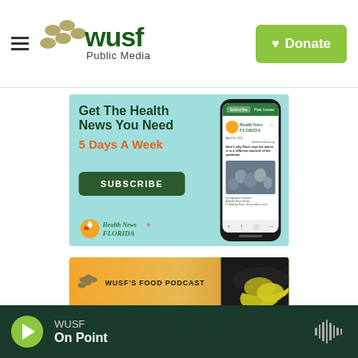[Figure (logo): WUSF Public Media logo with hamburger menu and green Donate button]
[Figure (infographic): Health News Florida subscription ad banner with light blue background. Text: 'Get The Health News You Need 5 Days A Week' with SUBSCRIBE button and phone mockup showing Health News Florida newsletter.]
[Figure (infographic): WUSF's Food Podcast banner with orange/yellow gradient background showing lemons on dark plate]
[Figure (screenshot): Bottom audio player bar showing WUSF On Point with green play button and waveform icon on dark green background]